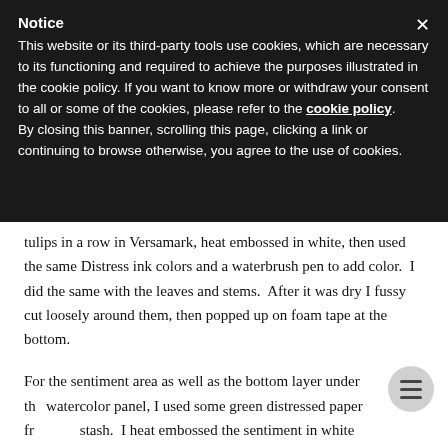Notice
This website or its third-party tools use cookies, which are necessary to its functioning and required to achieve the purposes illustrated in the cookie policy. If you want to know more or withdraw your consent to all or some of the cookies, please refer to the cookie policy. By closing this banner, scrolling this page, clicking a link or continuing to browse otherwise, you agree to the use of cookies.
tulips in a row in Versamark, heat embossed in white, then used the same Distress ink colors and a waterbrush pen to add color.  I did the same with the leaves and stems.  After it was dry I fussy cut loosely around them, then popped up on foam tape at the bottom.
For the sentiment area as well as the bottom layer under the watercolor panel, I used some green distressed paper from my stash.  I heat embossed the sentiment in white and popped up on top of the watercolor panel.  To finish, I layered the watercolor panel on another piece of green paper, then glued them together into a card base.  This whole idea of a card...